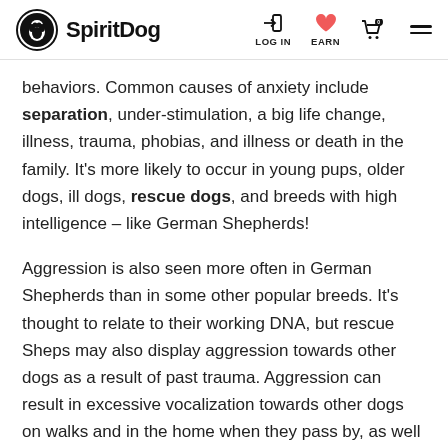SpiritDog | LOG IN | EARN
behaviors. Common causes of anxiety include separation, under-stimulation, a big life change, illness, trauma, phobias, and illness or death in the family. It’s more likely to occur in young pups, older dogs, ill dogs, rescue dogs, and breeds with high intelligence – like German Shepherds!
Aggression is also seen more often in German Shepherds than in some other popular breeds. It’s thought to relate to their working DNA, but rescue Sheps may also display aggression towards other dogs as a result of past trauma. Aggression can result in excessive vocalization towards other dogs on walks and in the home when they pass by, as well as